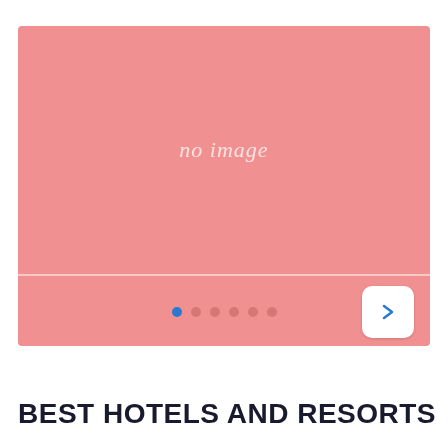[Figure (screenshot): Image slideshow placeholder with pink background showing 'no image' text in italic, pagination dots at bottom (first dot blue, rest pink), and a white rounded next arrow button on the right]
BEST HOTELS AND RESORTS